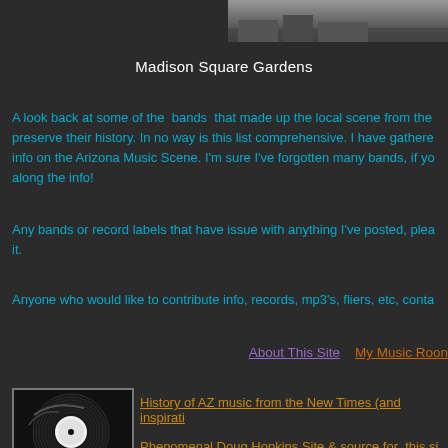[Figure (photo): Partial image at top right, appears to be a dark outdoor/aerial photo]
Madison Square Gardens
A look back at some of the  bands  that made up the local scene from the preserve their history. In no way is this list comprehensive. I have gathere info on the Arizona Music Scene. I'm sure I've forgotten many bands, if yo along the info!
Any bands or record labels that have issue with anything I've posted, plea it.
Anyone who would like to contribute info, records, mp3's, fliers, etc, conta
About This Site   My Music Roon
[Figure (illustration): Vinyl record illustration in black and white]
History of AZ music from the New Times (and inspirati
Phenomenal Doug Hopkins Site & source for  this si